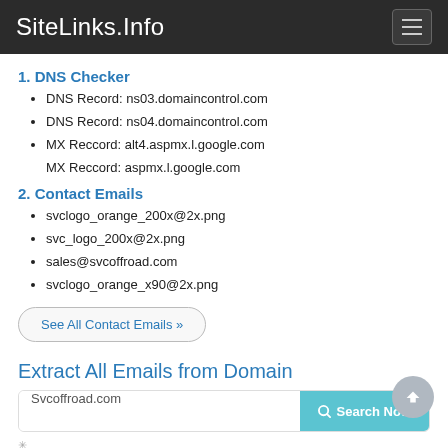SiteLinks.Info
1. DNS Checker
DNS Record: ns03.domaincontrol.com
DNS Record: ns04.domaincontrol.com
MX Reccord: alt4.aspmx.l.google.com
MX Reccord: aspmx.l.google.com
2. Contact Emails
svclogo_orange_200x@2x.png
svc_logo_200x@2x.png
sales@svcoffroad.com
svclogo_orange_x90@2x.png
See All Contact Emails »
Extract All Emails from Domain
Svcoffroad.com
Search Now